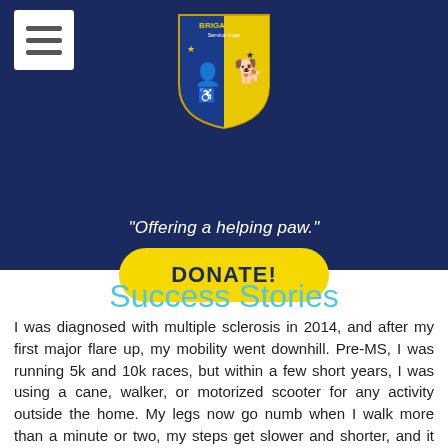[Figure (logo): Brigadoon Service Dogs shield logo with blue and yellow sections, silhouettes of a person, wheelchair user, and dog, with stars]
"Offering a helping paw."
DONATE!
Success Stories
I was diagnosed with multiple sclerosis in 2014, and after my first major flare up, my mobility went downhill. Pre-MS, I was running 5k and 10k races, but within a few short years, I was using a cane, walker, or motorized scooter for any activity outside the home. My legs now go numb when I walk more than a minute or two, my steps get slower and shorter, and it became a frustrating and lonely experience just trying to get through a grocery store